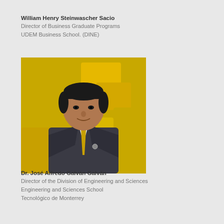William Henry Steinwascher Sacio
Director of Business Graduate Programs
UDEM Business School. (DINE)
[Figure (photo): Professional headshot of William Henry Steinwascher Sacio, a man in a dark grey suit with a gold/yellow tie, posing in front of yellow geometric background shapes.]
Dr. José Alfredo Galván Galván
Director of the Division of Engineering and Sciences
Engineering and Sciences School
Tecnológico de Monterrey